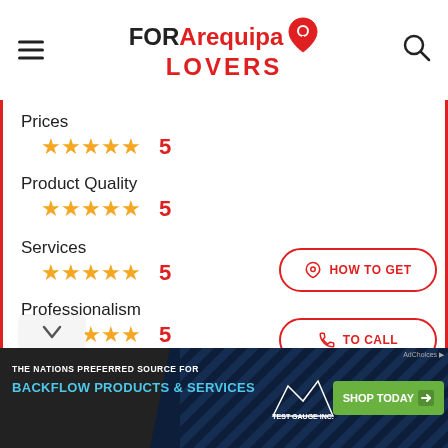FOR Arequipa LOVERS
Prices ★★★★★ 5
Product Quality ★★★★★ 5
Services ★★★★★ 5
Professionalism ★★★★★ 5
Attention ★★★★★ 5
HOW TO GET
TO CALL
WHATSAPP
THE NATIONS PREFERRED SOURCE FOR BACKFLOW PRODUCTS & SERVICES — Test Gauge Inc. — SHOP TODAY